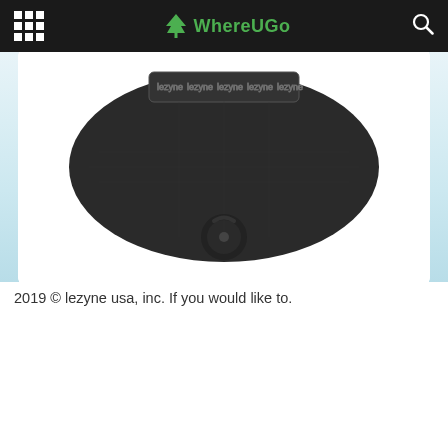WhereUGo
[Figure (photo): Close-up photo of a black cycling saddle bag / pouch with patterned strap and a black carabiner clip at the bottom, shown against a white background inside a light blue panel.]
2019 © lezyne usa, inc. If you would like to.
Table of Contents
1. A Fraction The Size Of The Lezyne.
2. Official City Of Calgary Local Government Twitter Account.
3. From Basic Data Recording To Extensive Workout Plan Integration, Lezyne's Gps Units Are Simple And Ready To Use Out Of The Box And Also Fully Customizable To Take Training To The Next Level.
4. The Lezyne Units Support Both Auto & Bluetooth Smart...